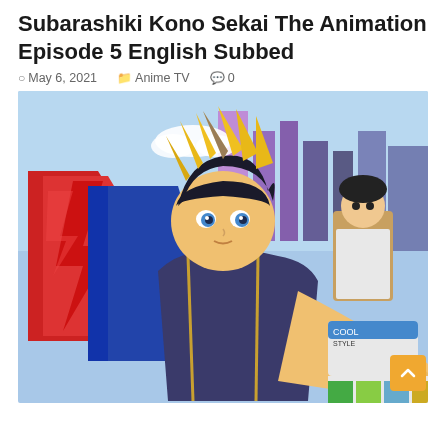Subarashiki Kono Sekai The Animation Episode 5 English Subbed
May 6, 2021  Anime TV  0
[Figure (illustration): Anime artwork for Subarashiki Kono Sekai (The World Ends with You) The Animation showing the main character Neku with spiky blonde hair wearing a dark jacket, reaching forward with his fist. Behind him are stylized urban letters and another character in the background against a blue sky.]